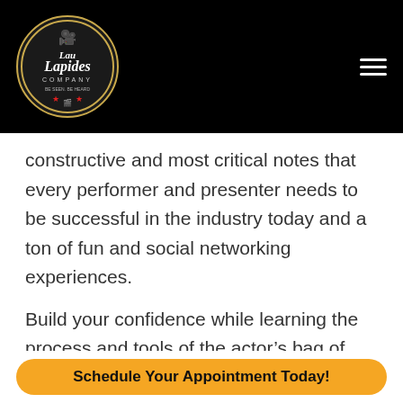[Figure (logo): Lau Lapides Company circular logo with film camera graphic, gold border, red stars, on black background]
constructive and most critical notes that every performer and presenter needs to be successful in the industry today and a ton of fun and social networking experiences.
Build your confidence while learning the process and tools of the actor’s bag of tricks to nail that next job or promotion.
Schedule Your Appointment Today!